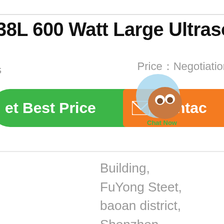38L 600 Watt Large Ultrasonic C
Price：Negotiation
[Figure (screenshot): Green rounded button with text 'et Best Price', orange button with envelope icon and text 'Contac', and a circular chat widget overlay with 'Chat Now' label]
Building,
FuYong Steet,
baoan district,
Shenzhen